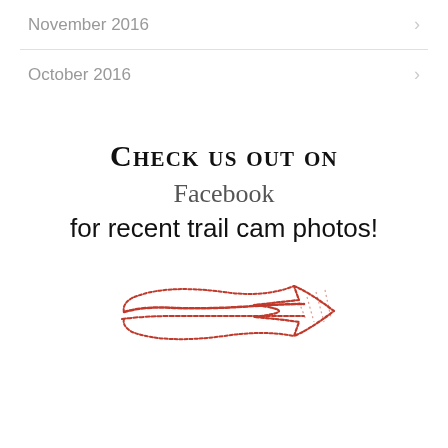November 2016
October 2016
[Figure (illustration): Promotional block with hand-drawn red arrow pointing right, text says 'Check us out on Facebook for recent trail cam photos!']
Check us out on
Facebook
for recent trail cam photos!